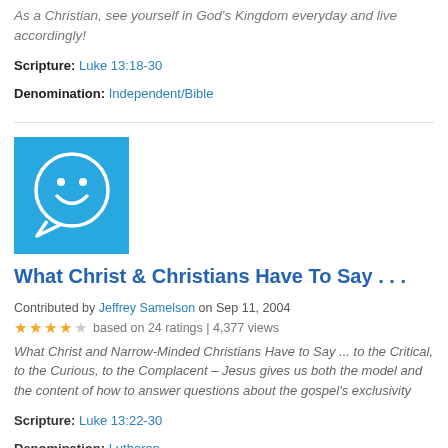As a Christian, see yourself in God's Kingdom everyday and live accordingly!
Scripture: Luke 13:18-30
Denomination: Independent/Bible
[Figure (illustration): Blue square with white smiley face speech bubble icon]
What Christ & Christians Have To Say . . .
Contributed by Jeffrey Samelson on Sep 11, 2004
based on 24 ratings | 4,377 views
What Christ and Narrow-Minded Christians Have to Say ... to the Critical, to the Curious, to the Complacent – Jesus gives us both the model and the content of how to answer questions about the gospel's exclusivity
Scripture: Luke 13:22-30
Denomination: Lutheran